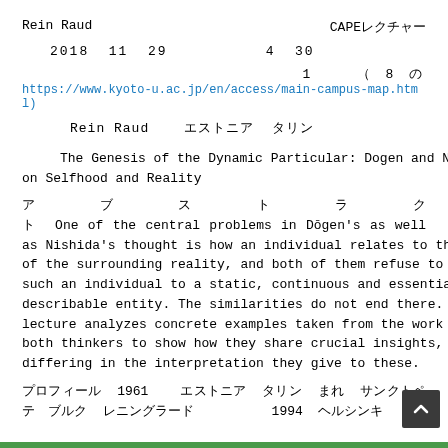Rein Raud　　　　　CAPEレクチャー
2018  11  29　　　　　4  30
1　　（　8  の
https://www.kyoto-u.ac.jp/en/access/main-campus-map.html)
Rein Raud　　エストニア　タリン
The Genesis of the Dynamic Particular: Dogen and Nishida on Selfhood and Reality
アブストラクト　One of the central problems in Dōgen's as well as Nishida's thought is how an individual relates to the totality of the surrounding reality, and both of them refuse to reduce such an individual to a static, continuous and essentialistically describable entity. The similarities do not end there. The lecture analyzes concrete examples taken from the work of both thinkers to show how they share crucial insights, while differing in the interpretation they give to these.
プロフィール　1961　　エストニア　タリン　まれ　サンクトペテルブルク　レニングラード　　　　　1994　ヘルシンキ　で